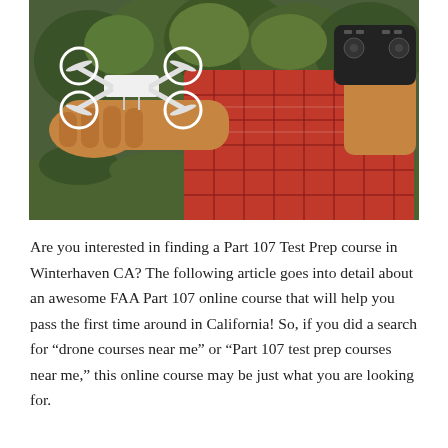[Figure (photo): A person wearing a red plaid flannel shirt holds a small white quadcopter drone in one outstretched hand and a remote controller in the other hand. The background is a blurred green forest setting.]
Are you interested in finding a Part 107 Test Prep course in Winterhaven CA? The following article goes into detail about an awesome FAA Part 107 online course that will help you pass the first time around in California! So, if you did a search for “drone courses near me” or “Part 107 test prep courses near me,” this online course may be just what you are looking for.